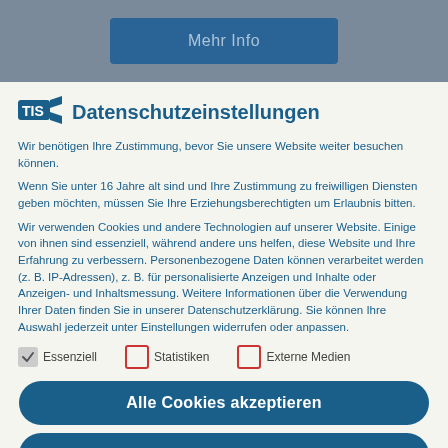[Figure (screenshot): Gray background with a dark blue 'Mehr Info' button visible at the top]
Datenschutzeinstellungen
Wir benötigen Ihre Zustimmung, bevor Sie unsere Website weiter besuchen können.
Wenn Sie unter 16 Jahre alt sind und Ihre Zustimmung zu freiwilligen Diensten geben möchten, müssen Sie Ihre Erziehungsberechtigten um Erlaubnis bitten.
Wir verwenden Cookies und andere Technologien auf unserer Website. Einige von ihnen sind essenziell, während andere uns helfen, diese Website und Ihre Erfahrung zu verbessern. Personenbezogene Daten können verarbeitet werden (z. B. IP-Adressen), z. B. für personalisierte Anzeigen und Inhalte oder Anzeigen- und Inhaltsmessung. Weitere Informationen über die Verwendung Ihrer Daten finden Sie in unserer Datenschutzerklärung. Sie können Ihre Auswahl jederzeit unter Einstellungen widerrufen oder anpassen.
Essenziell
Statistiken
Externe Medien
Alle Cookies akzeptieren
Aktuelle Einstellung speichern